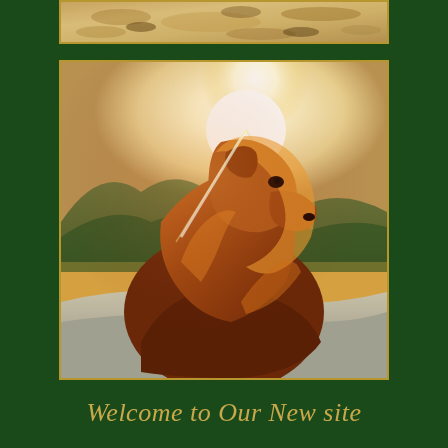[Figure (photo): Top strip photo showing sandy/rocky ground texture in sepia/warm tones with a gold border]
[Figure (photo): Golden retriever dog photographed in profile/silhouette against a bright sunset with mountain landscape in background, warm golden-orange tones, sitting on a rock, gold border frame]
Welcome to Our New site